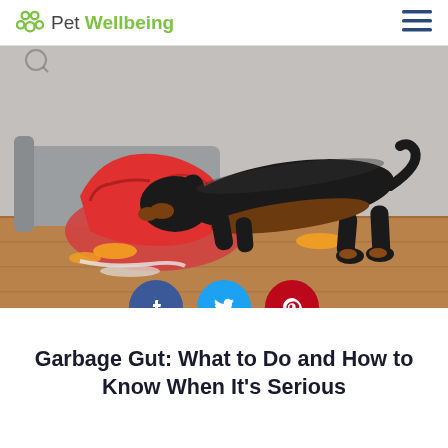Pet Wellbeing
[Figure (photo): A black and tan dachshund dog digging its head into a tipped-over red garbage bag with orange peels and trash scattered on a hardwood floor, with a gray sofa in the background.]
Garbage Gut: What to Do and How to Know When It's Serious